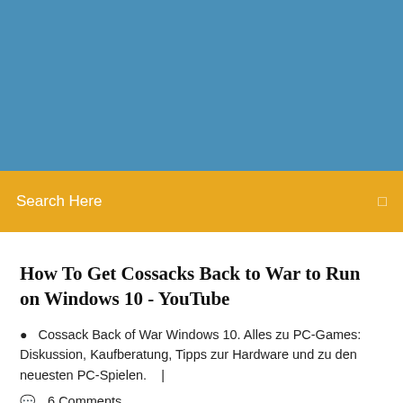[Figure (screenshot): Blue header background banner area]
Search Here
How To Get Cossacks Back to War to Run on Windows 10 - YouTube
Cossack Back of War Windows 10. Alles zu PC-Games: Diskussion, Kaufberatung, Tipps zur Hardware und zu den neuesten PC-Spielen.    |
6 Comments